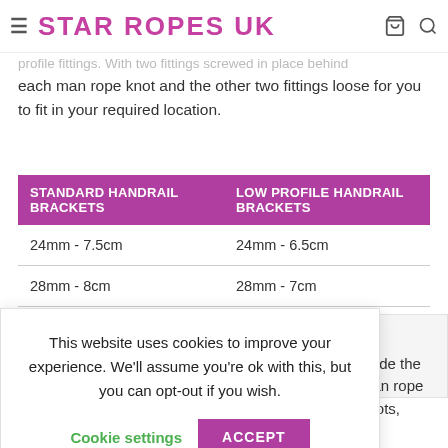STAR ROPES UK
profile fittings. With two fittings screwed in place behind each man rope knot and the other two fittings loose for you to fit in your required location.
| STANDARD HANDRAIL BRACKETS | LOW PROFILE HANDRAIL BRACKETS |
| --- | --- |
| 24mm - 7.5cm | 24mm - 6.5cm |
| 28mm - 8cm | 28mm - 7cm |
This website uses cookies to improve your experience. We'll assume you're ok with this, but you can opt-out if you wish.
Cookie settings   ACCEPT
nside the man rope knots, we recommend you keep this in mind when